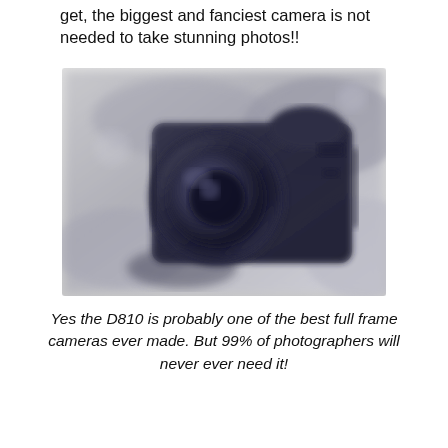get, the biggest and fanciest camera is not needed to take stunning photos!!
[Figure (photo): A blurred, close-up photograph of a DSLR camera (likely a Nikon D810) showing the camera body and lens, rendered in dark blue-black tones against a light background.]
Yes the D810 is probably one of the best full frame cameras ever made. But 99% of photographers will never ever need it!